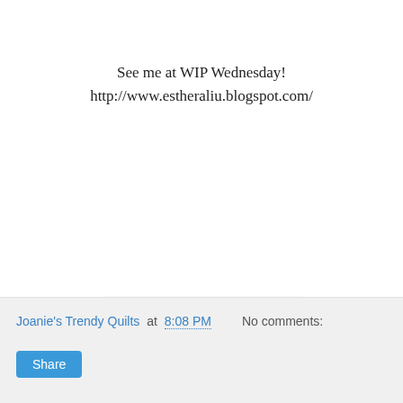See me at WIP Wednesday!
http://www.estheraliu.blogspot.com/
[Figure (illustration): A signature badge with a quilted heart icon and cursive script reading 'Joanie', inside a rounded rectangle border.]
[Figure (logo): Follow me on bloglovin' button with Bloglovin logo text in blue.]
Joanie's Trendy Quilts at 8:08 PM   No comments:
Share